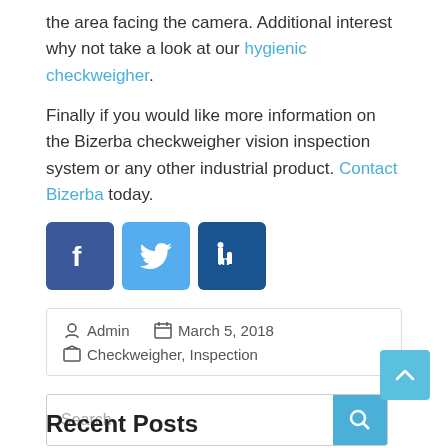the area facing the camera. Additional interest why not take a look at our hygienic checkweigher.
Finally if you would like more information on the Bizerba checkweigher vision inspection system or any other industrial product. Contact Bizerba today.
[Figure (illustration): Social media icons: Facebook (blue), Twitter (light blue), LinkedIn (dark blue)]
Admin   March 5, 2018   Checkweigher, Inspection
Search
Recent Posts